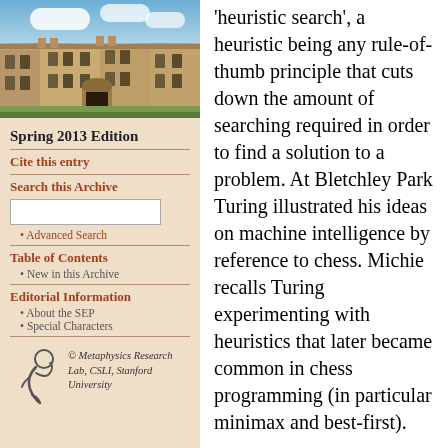[Figure (photo): Photograph of a stone university building (likely Oxford or Cambridge) with blue sky and clouds above]
Spring 2013 Edition
Cite this entry
Search this Archive
Advanced Search
Table of Contents
New in this Archive
Editorial Information
About the SEP
Special Characters
[Figure (logo): Metaphysics Research Lab logo — stylized figure]
© Metaphysics Research Lab, CSLI, Stanford University
'heuristic search', a heuristic being any rule-of-thumb principle that cuts down the amount of searching required in order to find a solution to a problem. At Bletchley Park Turing illustrated his ideas on machine intelligence by reference to chess. Michie recalls Turing experimenting with heuristics that later became common in chess programming (in particular minimax and best-first).
Further information about Turing and the computer, including his wartime work on codebreaking and his thinking about artificial intelligence and artificial life and so forth is